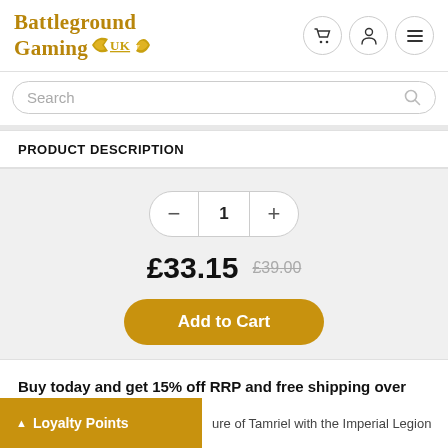[Figure (logo): Battleground Gaming UK logo with golden serif text and wing emblem]
Search
PRODUCT DESCRIPTION
1
£33.15  £39.00
Add to Cart
Buy today and get 15% off RRP and free shipping over £75 within the UK!
Loyalty Points
ure of Tamriel with the Imperial Legion